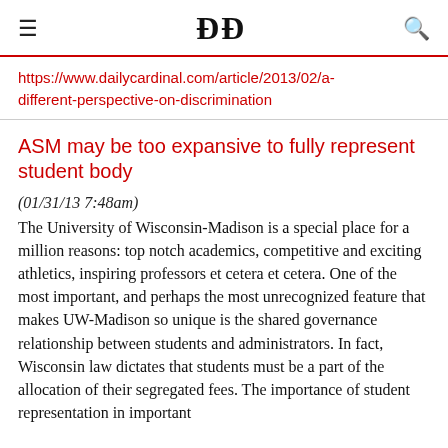DC
https://www.dailycardinal.com/article/2013/02/a-different-perspective-on-discrimination
ASM may be too expansive to fully represent student body
(01/31/13 7:48am)
The University of Wisconsin-Madison is a special place for a million reasons: top notch academics, competitive and exciting athletics, inspiring professors et cetera et cetera. One of the most important, and perhaps the most unrecognized feature that makes UW-Madison so unique is the shared governance relationship between students and administrators. In fact, Wisconsin law dictates that students must be a part of the allocation of their segregated fees. The importance of student representation in important